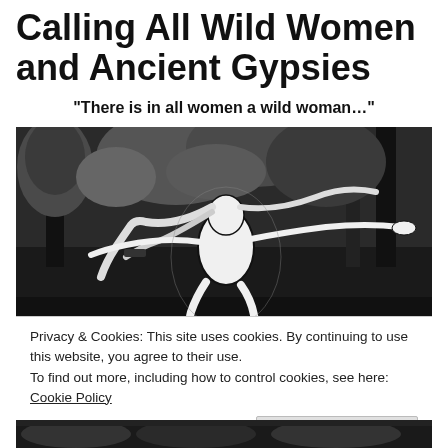Calling All Wild Women and Ancient Gypsies
“There is in all women a wild woman…”
[Figure (illustration): Black and white artistic illustration of a woman with long flowing hair, arms outstretched, set against a forest background with trees]
Privacy & Cookies: This site uses cookies. By continuing to use this website, you agree to their use.
To find out more, including how to control cookies, see here: Cookie Policy
Close and accept
[Figure (illustration): Black and white artistic illustration strip at the bottom of the page]